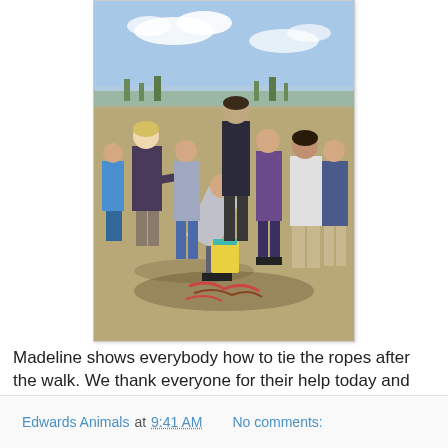[Figure (photo): Group of people outdoors on dry ground, several youth and adults, one person bent over showing others how to tie ropes near a yellow/teal bucket, trees and open landscape in background under blue sky.]
Madeline shows everybody how to tie the ropes after the walk. We thank everyone for their help today and wish everyone a Merry Christmas.
Edwards Animals at 9:41 AM    No comments: